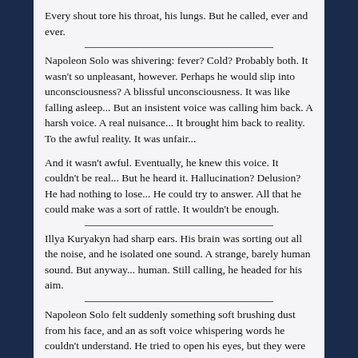Every shout tore his throat, his lungs. But he called, ever and ever.
Napoleon Solo was shivering: fever? Cold? Probably both. It wasn't so unpleasant, however. Perhaps he would slip into unconsciousness? A blissful unconsciousness. It was like falling asleep... But an insistent voice was calling him back. A harsh voice. A real nuisance... It brought him back to reality. To the awful reality. It was unfair...
And it wasn't awful. Eventually, he knew this voice. It couldn't be real... But he heard it. Hallucination? Delusion? He had nothing to lose... He could try to answer. All that he could make was a sort of rattle. It wouldn't be enough.
Illya Kuryakyn had sharp ears. His brain was sorting out all the noise, and he isolated one sound. A strange, barely human sound. But anyway... human. Still calling, he headed for his aim.
Napoleon Solo felt suddenly something soft brushing dust from his face, and an as soft voice whispering words he couldn't understand. He tried to open his eyes, but they were still glued. He moaned.